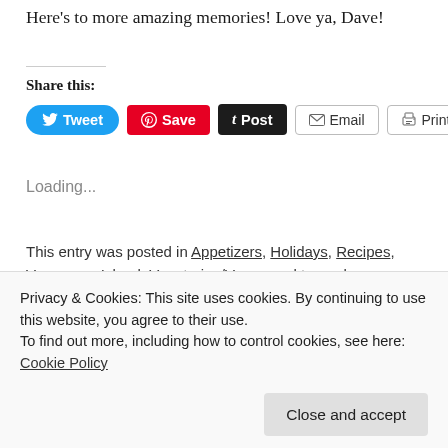Here's to more amazing memories!  Love ya, Dave!
Share this:
[Figure (other): Social sharing buttons: Tweet, Save, Post, Email, Print]
Loading...
This entry was posted in Appetizers, Holidays, Recipes, Vancouver Island, Vegetarian/Vegan and tagged amuse buche, appetizer, dates, parmesan cheese, stuffed dates, walnuts on September 23, 2014.
Privacy & Cookies: This site uses cookies. By continuing to use this website, you agree to their use.
To find out more, including how to control cookies, see here: Cookie Policy